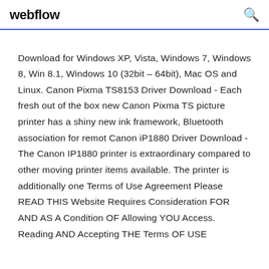webflow
Download for Windows XP, Vista, Windows 7, Windows 8, Win 8.1, Windows 10 (32bit – 64bit), Mac OS and Linux. Canon Pixma TS8153 Driver Download - Each fresh out of the box new Canon Pixma TS picture printer has a shiny new ink framework, Bluetooth association for remot Canon iP1880 Driver Download - The Canon IP1880 printer is extraordinary compared to other moving printer items available. The printer is additionally one Terms of Use Agreement Please READ THIS Website Requires Consideration FOR AND AS A Condition OF Allowing YOU Access. Reading AND Accepting THE Terms OF USE